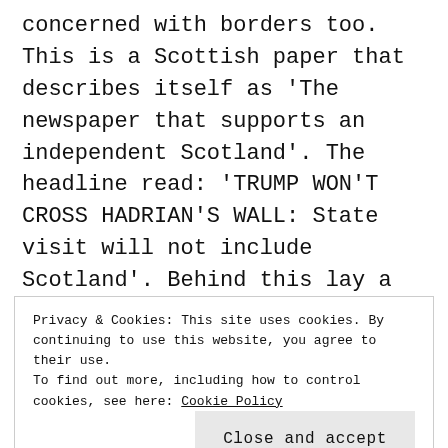concerned with borders too. This is a Scottish paper that describes itself as 'The newspaper that supports an independent Scotland'. The headline read: 'TRUMP WON'T CROSS HADRIAN'S WALL: State visit will not include Scotland'. Behind this lay a weird montage of Hadrian's Wall with the disembodied heads of Donald Trump (no hair) and Nicola Sturgeon (with sun rays shining beatifically from her chin like a golden beard,
Privacy & Cookies: This site uses cookies. By continuing to use this website, you agree to their use.
To find out more, including how to control cookies, see here: Cookie Policy
Close and accept
[Figure (screenshot): Bottom banner showing 'IN AUGUST 2018?' text in white on black background with a partial image of a person's face on the right side]